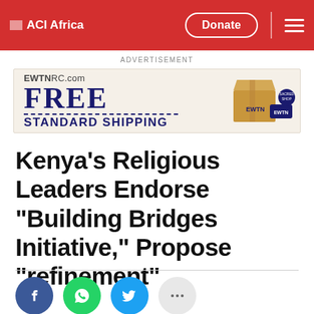ACI Africa
[Figure (screenshot): EWTN RC.com advertisement banner: FREE STANDARD SHIPPING with cardboard box graphic]
Kenya’s Religious Leaders Endorse “Building Bridges Initiative,” Propose “refinement”
[Figure (infographic): Social share buttons: Facebook (blue circle), WhatsApp (green circle), Twitter (blue circle), More options (gray circle with ellipsis)]